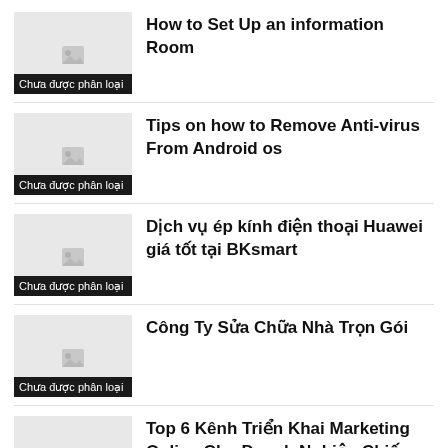How to Set Up an information Room
Tips on how to Remove Anti-virus From Android os
Dịch vụ ép kính điện thoại Huawei giá tốt tại BKsmart
Công Ty Sửa Chữa Nhà Trọn Gói
Top 6 Kênh Triển Khai Marketing Online Cho Doanh Nghiệp Chiếm Ưu Thế Hiện